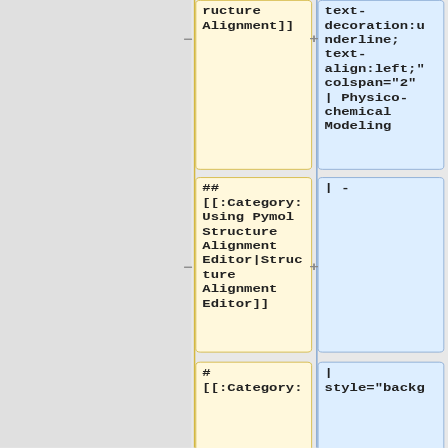ructure Alignment]]
text-decoration:underline; text-align:left;" colspan="2" | Physico-chemical Modeling
## [[:Category:Using Pymol Structure Alignment Editor|Structure Alignment Editor]]
| -
# [[:Category:
| style="backg